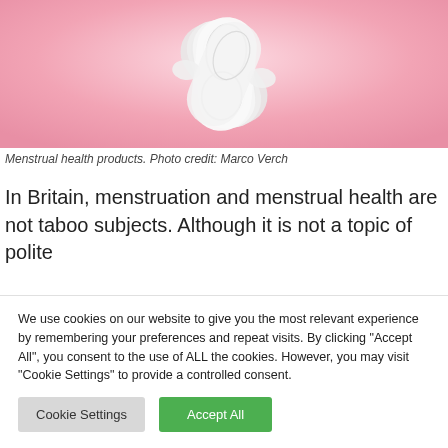[Figure (photo): Menstrual health products (sanitary pads) arranged on a pink background]
Menstrual health products. Photo credit: Marco Verch
In Britain, menstruation and menstrual health are not taboo subjects. Although it is not a topic of polite
We use cookies on our website to give you the most relevant experience by remembering your preferences and repeat visits. By clicking "Accept All", you consent to the use of ALL the cookies. However, you may visit "Cookie Settings" to provide a controlled consent.